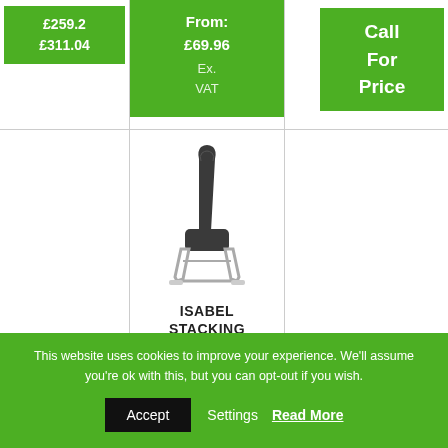£259.2 £311.04
From: £69.96 Ex. VAT
Call For Price
[Figure (photo): Side view of Isabel Stacking Chair with dark upholstered seat and back, chrome sled base]
ISABEL STACKING CHAIR
This website uses cookies to improve your experience. We'll assume you're ok with this, but you can opt-out if you wish.
Accept  Settings  Read More